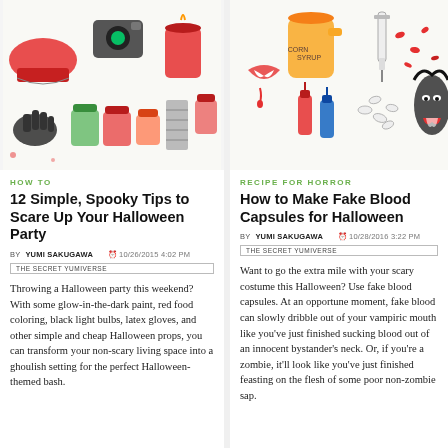[Figure (illustration): Halloween themed illustration collage: red shoe, glow-in-the-dark items, jars, gloves, candles, and various spooky props in hand-drawn style]
HOW TO
12 Simple, Spooky Tips to Scare Up Your Halloween Party
BY YUMI SAKUGAWA  10/26/2015 4:02 PM
THE SECRET YUMIVERSE
Throwing a Halloween party this weekend? With some glow-in-the-dark paint, red food coloring, black light bulbs, latex gloves, and other simple and cheap Halloween props, you can transform your non-scary living space into a ghoulish setting for the perfect Halloween-themed bash.
[Figure (illustration): Halloween themed illustration collage: vampire mouth with blood, syringe, nail polish, pills, capsules, and spooky face in hand-drawn style]
RECIPE FOR HORROR
How to Make Fake Blood Capsules for Halloween
BY YUMI SAKUGAWA  10/28/2016 3:22 PM
THE SECRET YUMIVERSE
Want to go the extra mile with your scary costume this Halloween? Use fake blood capsules. At an opportune moment, fake blood can slowly dribble out of your vampiric mouth like you've just finished sucking blood out of an innocent bystander's neck. Or, if you're a zombie, it'll look like you've just finished feasting on the flesh of some poor non-zombie sap.